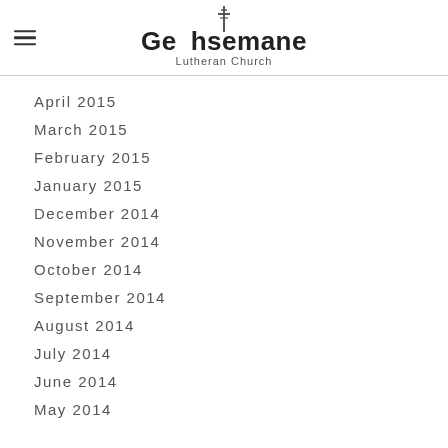Gethsemane Lutheran Church
April 2015
March 2015
February 2015
January 2015
December 2014
November 2014
October 2014
September 2014
August 2014
July 2014
June 2014
May 2014